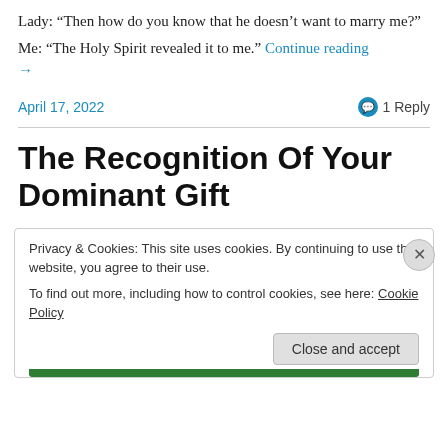Lady: “Then how do you know that he doesn’t want to marry me?”
Me: “The Holy Spirit revealed it to me.” Continue reading →
April 17, 2022
1 Reply
The Recognition Of Your Dominant Gift
Privacy & Cookies: This site uses cookies. By continuing to use this website, you agree to their use.
To find out more, including how to control cookies, see here: Cookie Policy
Close and accept